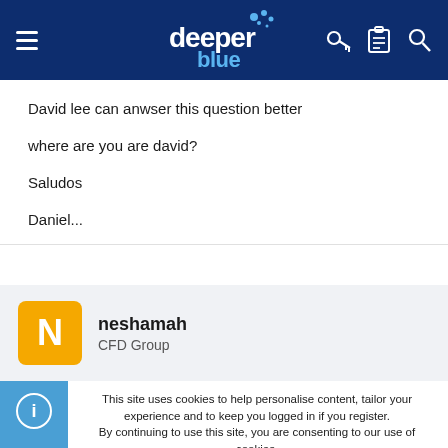[Figure (logo): DeeperBlue website header with hamburger menu, deeper blue logo with bubbles, and icons for key, clipboard, and search]
David lee can anwser this question better

where are you are david?

Saludos

Daniel...
neshamah
CFD Group
This site uses cookies to help personalise content, tailor your experience and to keep you logged in if you register.
By continuing to use this site, you are consenting to our use of cookies.